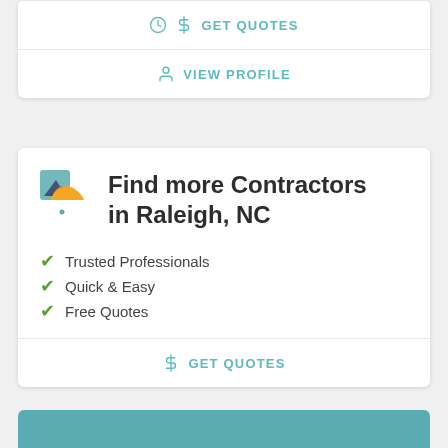GET QUOTES
VIEW PROFILE
Find more Contractors in Raleigh, NC
Trusted Professionals
Quick & Easy
Free Quotes
GET QUOTES